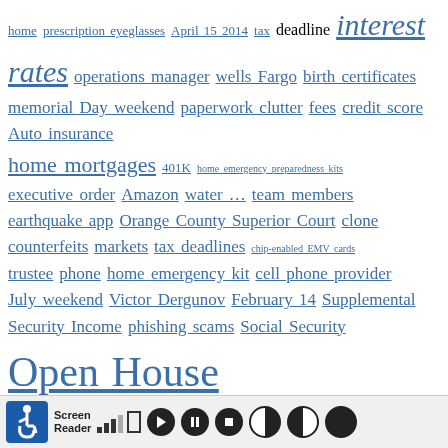home prescription eyeglasses April 15 2014 tax deadline interest rates operations manager wells Fargo birth certificates memorial Day weekend paperwork clutter fees credit score Auto insurance home mortgages 401K home emergency preparedness kits executive order Amazon water … team members earthquake app Orange County Superior Court clone counterfeits markets tax deadlines chip-enabled EMV cards trustee phone home emergency kit cell phone provider July weekend Victor Dergunov February 14 Supplemental Security Income phishing scams Social Security Open House policy cell phones Medicare question bottom line items phone companies Asset Planning privacy notices Medicare Part B premiums 2017 TD Ameritrade National LINC Conference January 10 retirement planning 23 andme July 4 FSA home security market turmoil September 30 2020. Legal robocalls Two-Step Verification Facebook profile tax season tax returns offering insurance home assets documents hurricane … spreac …